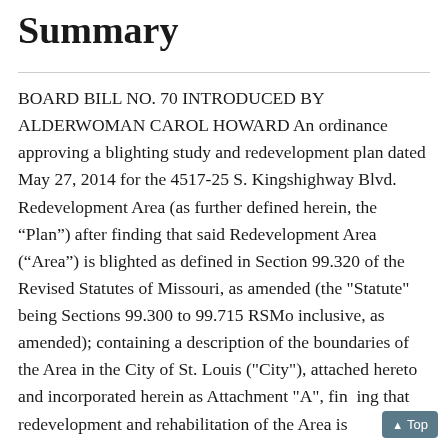Summary
BOARD BILL NO. 70 INTRODUCED BY ALDERWOMAN CAROL HOWARD An ordinance approving a blighting study and redevelopment plan dated May 27, 2014 for the 4517-25 S. Kingshighway Blvd. Redevelopment Area (as further defined herein, the “Plan”) after finding that said Redevelopment Area (“Area”) is blighted as defined in Section 99.320 of the Revised Statutes of Missouri, as amended (the "Statute" being Sections 99.300 to 99.715 RSMo inclusive, as amended); containing a description of the boundaries of the Area in the City of St. Louis ("City"), attached hereto and incorporated herein as Attachment "A", finding that redevelopment and rehabilitation of the Area is